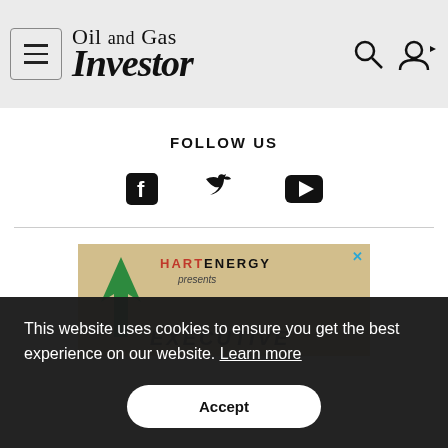Oil and Gas Investor
FOLLOW US
[Figure (illustration): Social media icons: Facebook, Twitter, YouTube]
[Figure (illustration): Hart Energy presents Executive [ad banner with green arrow logo]]
This website uses cookies to ensure you get the best experience on our website. Learn more
Accept